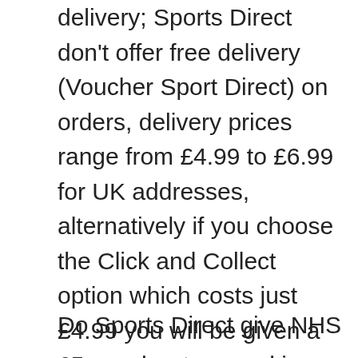delivery; Sports Direct don't offer free delivery (Voucher Sport Direct) on orders, delivery prices range from £4.99 to £6.99 for UK addresses, alternatively if you choose the Click and Collect option which costs just £4.99 you will be given a £5 voucher to spend in-store.
Do Sports Direct give NHS